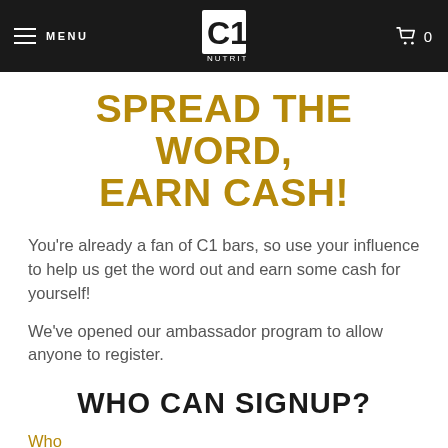MENU | C1 NUTRITION | 0
SPREAD THE WORD, EARN CASH!
You're already a fan of C1 bars, so use your influence to help us get the word out and earn some cash for yourself!
We've opened our ambassador program to allow anyone to register.
WHO CAN SIGNUP?
Who (partial, cut off at bottom)